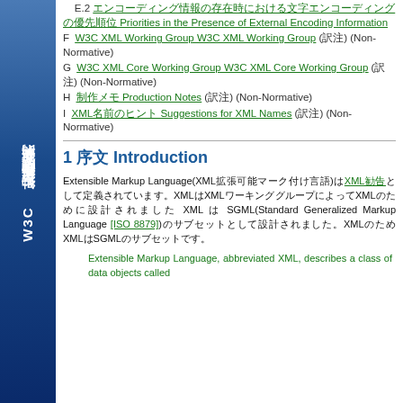W3C 勧告 日本語翻訳版(非規範的)
E.2 エンコーディング情報の存在時における文字エンコーディングの優先順位 Priorities in the Presence of External Encoding Information
F  W3C XML Working Group W3C XML Working Group (訳注) (Non-Normative)
G  W3C XML Core Working Group W3C XML Core Working Group (訳注) (Non-Normative)
H  制作メモ Production Notes (訳注) (Non-Normative)
I  XML名前のヒント Suggestions for XML Names (訳注) (Non-Normative)
1 序文 Introduction
Extensible Markup Language(XML拡張可能マーク付け言語)はXML勧告として定義されています。XMLはXMLワーキンググループによってSGML(Standard Generalized Markup Language [ISO 8879])のサブセットとして設計されました。XMLはSGMLのサブセットです。
Extensible Markup Language, abbreviated XML, describes a class of data objects called